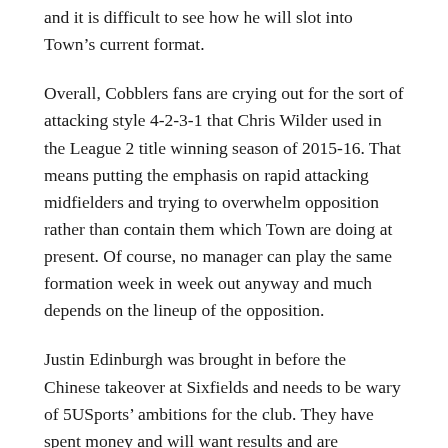and it is difficult to see how he will slot into Town's current format.
Overall, Cobblers fans are crying out for the sort of attacking style 4-2-3-1 that Chris Wilder used in the League 2 title winning season of 2015-16. That means putting the emphasis on rapid attacking midfielders and trying to overwhelm opposition rather than contain them which Town are doing at present. Of course, no manager can play the same formation week in week out anyway and much depends on the lineup of the opposition.
Justin Edinburgh was brought in before the Chinese takeover at Sixfields and needs to be wary of 5USports’ ambitions for the club. They have spent money and will want results and are expected to be present at Sixfields for the Fleetwood home match.